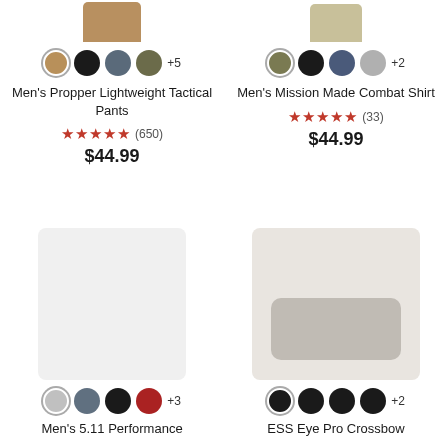[Figure (photo): Men's Propper Lightweight Tactical Pants product image (top, cropped)]
Men's Propper Lightweight Tactical Pants
★★★★★ (650) $44.99
[Figure (photo): Men's Mission Made Combat Shirt product image (top, cropped)]
Men's Mission Made Combat Shirt
★★★★★ (33) $44.99
[Figure (photo): Men's 5.11 Performance product image (placeholder, light gray)]
Men's 5.11 Performance
[Figure (photo): ESS Eye Pro Crossbow product image (placeholder, beige/gray shape)]
ESS Eye Pro Crossbow